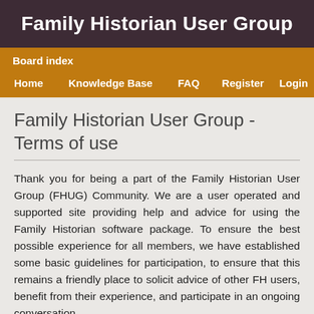Family Historian User Group
Board index
Home   Knowledge Base   FAQ   Register   Login
Family Historian User Group - Terms of use
Thank you for being a part of the Family Historian User Group (FHUG) Community. We are a user operated and supported site providing help and advice for using the Family Historian software package. To ensure the best possible experience for all members, we have established some basic guidelines for participation, to ensure that this remains a friendly place to solicit advice of other FH users, benefit from their experience, and participate in an ongoing conversation.
Please take a moment to acquaint yourself with these important guidelines and rules. If you have questions, Contact